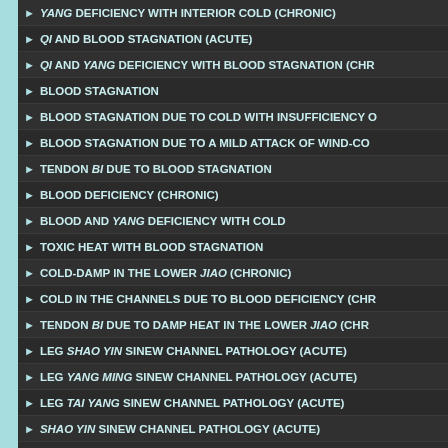YANG DEFICIENCY WITH INTERIOR COLD (CHRONIC)
QI AND BLOOD STAGNATION (ACUTE)
QI AND YANG DEFICIENCY WITH BLOOD STAGNATION (CHRONIC)
BLOOD STAGNATION
BLOOD STAGNATION DUE TO COLD WITH INSUFFICIENCY OF...
BLOOD STAGNATION DUE TO A MILD ATTACK OF WIND-CO...
TENDON BI DUE TO BLOOD STAGNATION
BLOOD DEFICIENCY (CHRONIC)
BLOOD AND YANG DEFICIENCY WITH COLD
TOXIC HEAT WITH BLOOD STAGNATION
COLD-DAMP IN THE LOWER JIAO (CHRONIC)
COLD IN THE CHANNELS DUE TO BLOOD DEFICIENCY (CHRONIC)
TENDON BI DUE TO DAMP HEAT IN THE LOWER JIAO (CHRONIC)
LEG SHAO YIN SINEW CHANNEL PATHOLOGY (ACUTE)
LEG YANG MING SINEW CHANNEL PATHOLOGY (ACUTE)
LEG TAI YANG SINEW CHANNEL PATHOLOGY (ACUTE)
SHAO YIN SINEW CHANNEL PATHOLOGY (ACUTE)